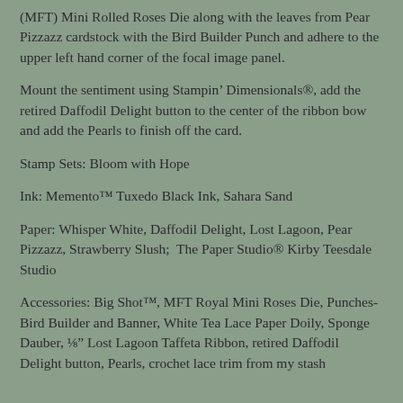(MFT) Mini Rolled Roses Die along with the leaves from Pear Pizzazz cardstock with the Bird Builder Punch and adhere to the upper left hand corner of the focal image panel.
Mount the sentiment using Stampin’ Dimensionals®, add the retired Daffodil Delight button to the center of the ribbon bow and add the Pearls to finish off the card.
Stamp Sets: Bloom with Hope
Ink: Memento™ Tuxedo Black Ink, Sahara Sand
Paper: Whisper White, Daffodil Delight, Lost Lagoon, Pear Pizzazz, Strawberry Slush;  The Paper Studio® Kirby Teesdale Studio
Accessories: Big Shot™, MFT Royal Mini Roses Die, Punches-Bird Builder and Banner, White Tea Lace Paper Doily, Sponge Dauber, ⅛″ Lost Lagoon Taffeta Ribbon, retired Daffodil Delight button, Pearls, crochet lace trim from my stash